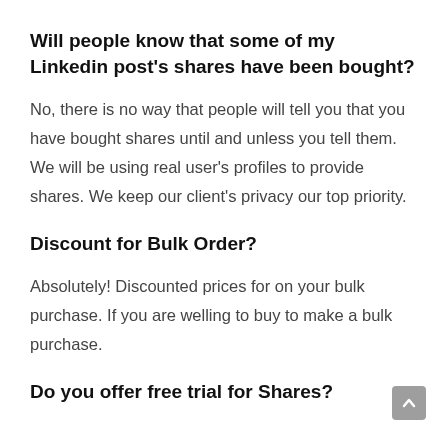Will people know that some of my Linkedin post's shares have been bought?
No, there is no way that people will tell you that you have bought shares until and unless you tell them. We will be using real user's profiles to provide shares. We keep our client's privacy our top priority.
Discount for Bulk Order?
Absolutely! Discounted prices for on your bulk purchase. If you are welling to buy to make a bulk purchase.
Do you offer free trial for Shares?